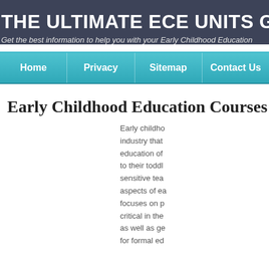THE ULTIMATE ECE UNITS GU
Get the best information to help you with your Early Childhood Education
Home | Privacy | Sitemap | Contact Us
Early Childhood Education Courses
Early childhood industry that education of to their toddl sensitive tea aspects of e focuses on p critical in the as well as ge for formal ed